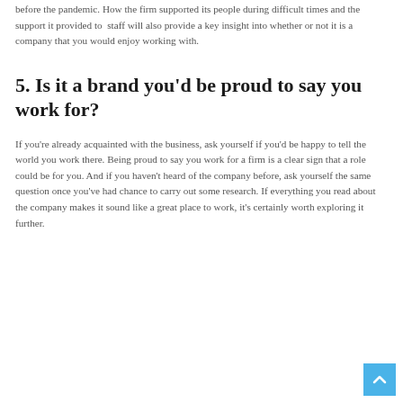before the pandemic. How the firm supported its people during difficult times and the support it provided to staff will also provide a key insight into whether or not it is a company that you would enjoy working with.
5. Is it a brand you'd be proud to say you work for?
If you're already acquainted with the business, ask yourself if you'd be happy to tell the world you work there. Being proud to say you work for a firm is a clear sign that a role could be for you. And if you haven't heard of the company before, ask yourself the same question once you've had chance to carry out some research. If everything you read about the company makes it sound like a great place to work, it's certainly worth exploring it further.